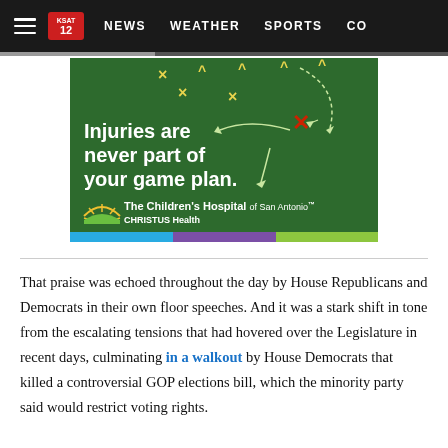NEWS   WEATHER   SPORTS   CO
[Figure (illustration): Advertisement for The Children's Hospital of San Antonio - CHRISTUS Health. Green background with football play diagram, X and O markers, arrows. Text reads 'Injuries are never part of your game plan.' with The Children's Hospital of San Antonio CHRISTUS Health logo. Bottom color bar: blue, purple, green.]
That praise was echoed throughout the day by House Republicans and Democrats in their own floor speeches. And it was a stark shift in tone from the escalating tensions that had hovered over the Legislature in recent days, culminating in a walkout by House Democrats that killed a controversial GOP elections bill, which the minority party said would restrict voting rights.